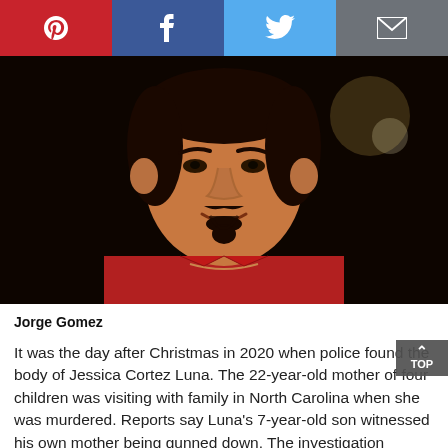[Figure (other): Social share bar with Pinterest, Facebook, Twitter, and Email buttons]
[Figure (photo): Close-up photo of Jorge Gomez, a man wearing a red shirt with a goatee, against a dark background]
Jorge Gomez
It was the day after Christmas in 2020 when police found the body of Jessica Cortez Luna. The 22-year-old mother of four children was visiting with family in North Carolina when she was murdered. Reports say Luna's 7-year-old son witnessed his own mother being gunned down. The investigation quickly led authorities to Jorge Gomez who